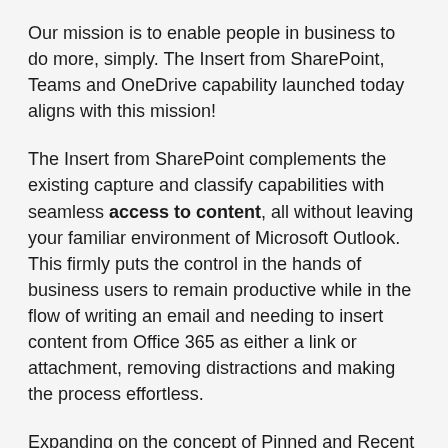Our mission is to enable people in business to do more, simply. The Insert from SharePoint, Teams and OneDrive capability launched today aligns with this mission!
The Insert from SharePoint complements the existing capture and classify capabilities with seamless access to content, all without leaving your familiar environment of Microsoft Outlook. This firmly puts the control in the hands of business users to remain productive while in the flow of writing an email and needing to insert content from Office 365 as either a link or attachment, removing distractions and making the process effortless.
Expanding on the concept of Pinned and Recent locations when saving to SharePoint, Teams channels and OneDrive, the insert capability provides simplicity with its unique ability to pin both files and locations.